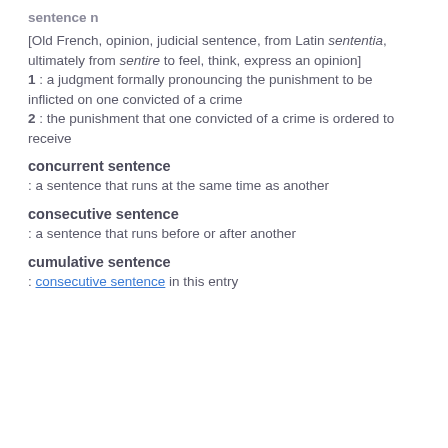sentence n
[Old French, opinion, judicial sentence, from Latin sententia, ultimately from sentire to feel, think, express an opinion]
1 : a judgment formally pronouncing the punishment to be inflicted on one convicted of a crime
2 : the punishment that one convicted of a crime is ordered to receive
concurrent sentence
: a sentence that runs at the same time as another
consecutive sentence
: a sentence that runs before or after another
cumulative sentence
: consecutive sentence in this entry